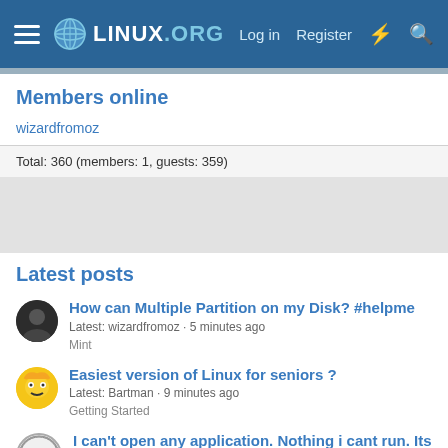Linux.org — Log in | Register
Members online
wizardfromoz
Total: 360 (members: 1, guests: 359)
Latest posts
How can Multiple Partition on my Disk? #helpme
Latest: wizardfromoz · 5 minutes ago
Mint
Easiest version of Linux for seniors ?
Latest: Bartman · 9 minutes ago
Getting Started
I can't open any application. Nothing i cant run. Its say "Unable to mkstemp"
Latest: LorenDB · Today at 3:05 AM